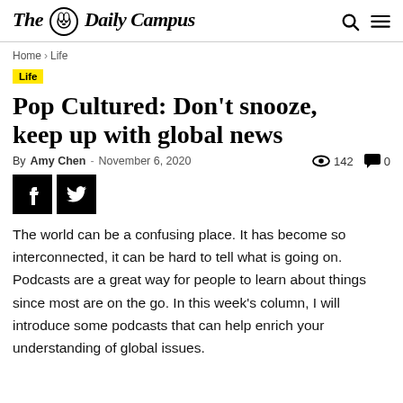The Daily Campus
Home › Life
Life
Pop Cultured: Don't snooze, keep up with global news
By Amy Chen - November 6, 2020   👁 142  💬 0
The world can be a confusing place. It has become so interconnected, it can be hard to tell what is going on. Podcasts are a great way for people to learn about things since most are on the go. In this week's column, I will introduce some podcasts that can help enrich your understanding of global issues.